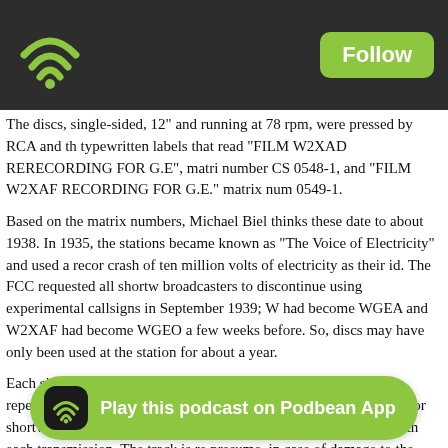Wifi/podcast app header with Follow button
The discs, single-sided, 12" and running at 78 rpm, were pressed by RCA and the typewritten labels that read "FILM W2XAD RERECORDING FOR G.E", matrix number CS 0548-1, and "FILM W2XAF RECORDING FOR G.E." matrix number CS 0549-1.
Based on the matrix numbers, Michael Biel thinks these date to about 1938. In 1935, the stations became known as "The Voice of Electricity" and used a recording crash of ten million volts of electricity as their id. The FCC requested all shortwave broadcasters to discontinue using experimental callsigns in September 1939; W2XAD had become WGEA and W2XAF had become WGEO a few weeks before. So, the discs may have only been used at the station for about a year.
Each single-sided disc has two bands and the sign-on recording is repeated in each. discs were probably used when the station was used for shortwave broadcasting so a "live" sign on wouldn't have to be done with each transmission. The track is repeated, I presume, in case of damage to the disc.
According to the company, the company created a device that allowed 90 minutes
[Figure (other): Play this podcast on Podbean App promotional banner]